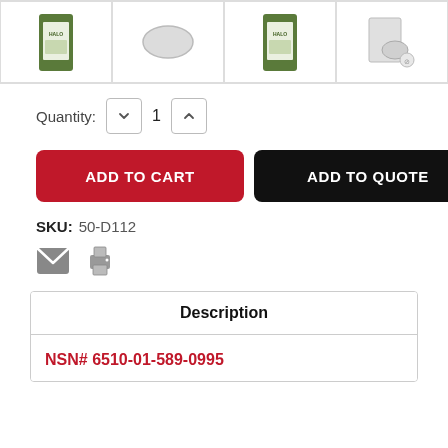[Figure (photo): Four product thumbnail images in a row showing HALO product packaging and a white oval product, in bordered cells.]
Quantity: 1
ADD TO CART
ADD TO QUOTE
SKU: 50-D112
[Figure (illustration): Email icon (envelope) and print icon side by side.]
Description
NSN# 6510-01-589-0995